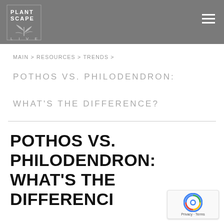PLANTSCAPE LIVE
MAIN > RESOURCES > TRENDS >
POTHOS VS. PHILODENDRON: WHAT'S THE DIFFERENCE?
POTHOS VS. PHILODENDRON: WHAT'S THE DIFFERENCE?